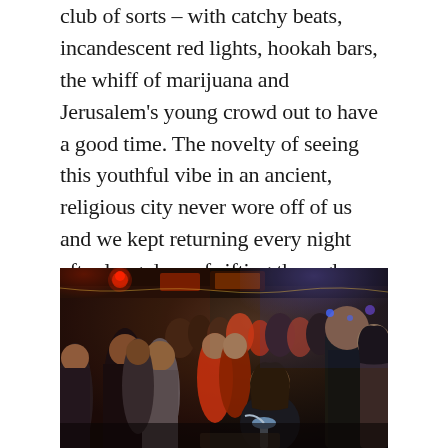club of sorts – with catchy beats, incandescent red lights, hookah bars, the whiff of marijuana and Jerusalem's young crowd out to have a good time. The novelty of seeing this youthful vibe in an ancient, religious city never wore off of us and we kept returning every night after long days of sifting through history.
[Figure (photo): A crowded indoor market or bazaar at night transformed into a lively social scene. People of various ages are gathered at tables, with one woman smoking a hookah in the foreground. The venue is dimly lit with red and blue lights, signs in Hebrew are visible on the walls and ceiling, and the space is packed with young people socializing. The atmosphere is vibrant and festive.]